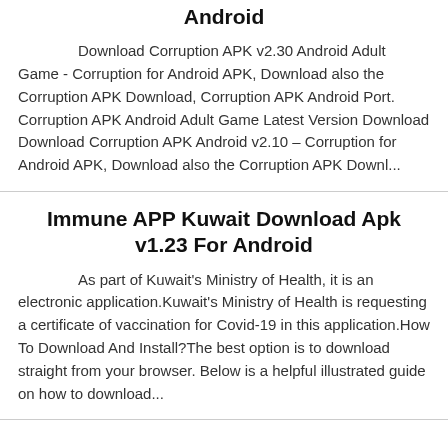Android
Download Corruption APK v2.30 Android Adult Game - Corruption for Android APK, Download also the Corruption APK Download, Corruption APK Android Port. Corruption APK Android Adult Game Latest Version Download Download Corruption APK Android v2.10 – Corruption for Android APK, Download also the Corruption APK Downl...
Immune APP Kuwait Download Apk v1.23 For Android
As part of Kuwait's Ministry of Health, it is an electronic application.Kuwait's Ministry of Health is requesting a certificate of vaccination for Covid-19 in this application.How To Download And Install?The best option is to download straight from your browser. Below is a helpful illustrated guide on how to download...
Leave a Reply
Your email address will not be published. Required fields are